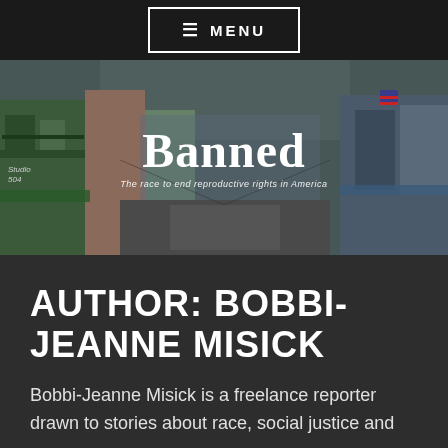≡ MENU
[Figure (photo): Street scene of New Orleans French Quarter with colorful buildings, balconies, and an American flag visible. Overlaid with bold white serif text 'Banned' and smaller italic subtitle 'The race to end reproductive rights in America'.]
AUTHOR: BOBBI-JEANNE MISICK
Bobbi-Jeanne Misick is a freelance reporter drawn to stories about race, social justice and